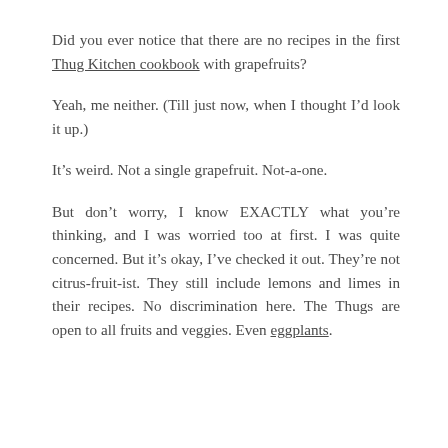Did you ever notice that there are no recipes in the first Thug Kitchen cookbook with grapefruits?
Yeah, me neither. (Till just now, when I thought I’d look it up.)
It’s weird. Not a single grapefruit. Not-a-one.
But don’t worry, I know EXACTLY what you’re thinking, and I was worried too at first. I was quite concerned. But it’s okay, I’ve checked it out. They’re not citrus-fruit-ist. They still include lemons and limes in their recipes. No discrimination here. The Thugs are open to all fruits and veggies. Even eggplants.